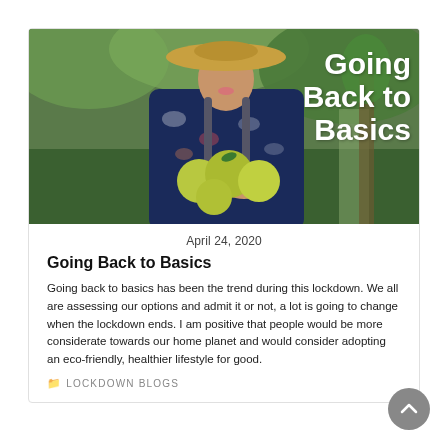[Figure (photo): A woman wearing a floral dress and wide-brim hat, holding large green fruits (pomelos/grapefruits), standing in a lush green outdoor setting. White bold text overlay reads 'Going Back to Basics'.]
April 24, 2020
Going Back to Basics
Going back to basics has been the trend during this lockdown. We all are assessing our options and admit it or not, a lot is going to change when the lockdown ends. I am positive that people would be more considerate towards our home planet and would consider adopting an eco-friendly, healthier lifestyle for good.
LOCKDOWN BLOGS